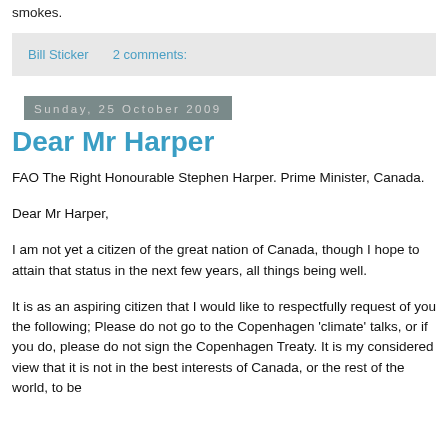smokes.
Bill Sticker    2 comments:
Sunday, 25 October 2009
Dear Mr Harper
FAO The Right Honourable Stephen Harper. Prime Minister, Canada.
Dear Mr Harper,
I am not yet a citizen of the great nation of Canada, though I hope to attain that status in the next few years, all things being well.
It is as an aspiring citizen that I would like to respectfully request of you the following; Please do not go to the Copenhagen 'climate' talks, or if you do, please do not sign the Copenhagen Treaty. It is my considered view that it is not in the best interests of Canada, or the rest of the world, to be